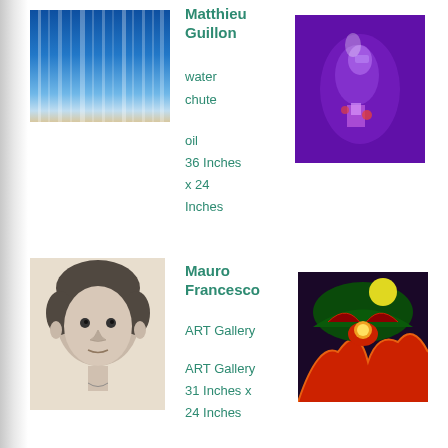[Figure (photo): Blue abstract painting resembling water with vertical streaks]
Matthieu Guillon
water chute
oil
36 Inches x 24 Inches
[Figure (photo): Abstract painting with purple background and glowing shapes]
[Figure (photo): Pencil portrait sketch of a child]
Mauro Francesco
ART Gallery
ART Gallery
31 Inches x 24 Inches
[Figure (photo): Fantasy painting with moon, mountains, and colorful creatures]